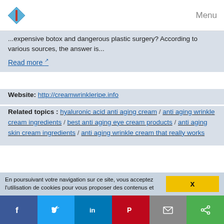Menu
...expensive botox and dangerous plastic surgery? According to various sources, the answer is...
Read more
Website: http://creamwrinkleripe.info
Related topics : hyaluronic acid anti aging cream / anti aging wrinkle cream ingredients / best anti aging eye cream products / anti aging skin cream ingredients / anti aging wrinkle cream that really works
Top Eye Creams For Wrinkles And Dark Circles
Style
Discover The 5 Solution to a Wrinkle Free Face - ALL EXPOSED TODAY!
En poursuivant votre navigation sur ce site, vous acceptez l'utilisation de cookies pour vous proposer des contenus et